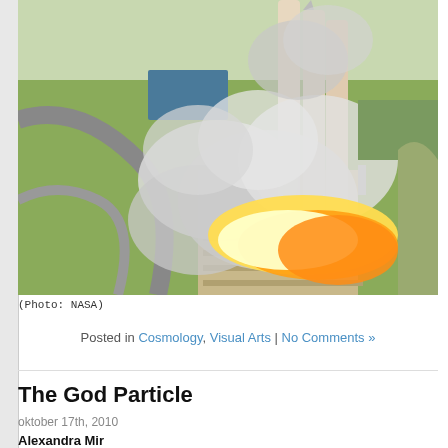[Figure (photo): Aerial view of a rocket launching from a launch pad, with large plumes of white smoke and bright orange flames at the base. The launch facility and surrounding grounds are visible from above.]
(Photo: NASA)
Posted in Cosmology, Visual Arts | No Comments »
The God Particle
oktober 17th, 2010
Alexandra Mir
The Dream and the Promise, 2000